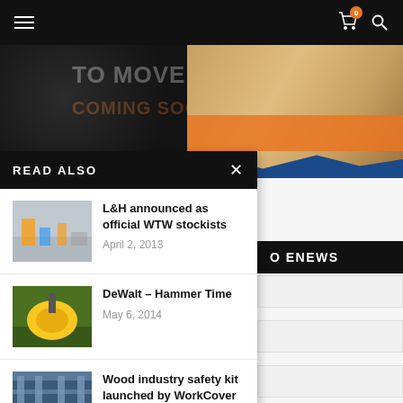Navigation bar with hamburger menu, cart (0), and search icons
[Figure (photo): Banner showing 'TO MOVE' text and 'COMING SOON' in orange, with a tan work boot on orange background and blue base]
READ ALSO
[Figure (photo): Thumbnail of a hardware store warehouse]
L&H announced as official WTW stockists
April 2, 2013
[Figure (photo): Thumbnail of a yellow DeWalt hammer drill]
DeWalt – Hammer Time
May 6, 2014
[Figure (photo): Thumbnail of wood industry/metal frames]
Wood industry safety kit launched by WorkCover
May 17, 2013
O ENEWS
Input fields for email newsletter signup